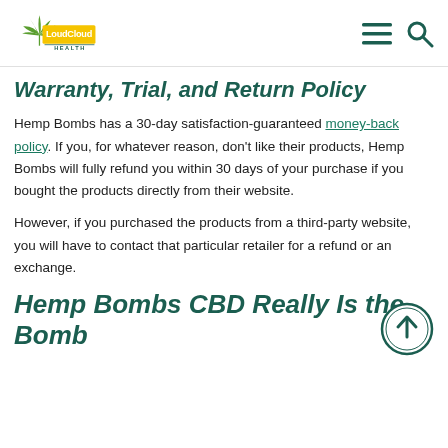LoudCloud Health [navigation icons]
Warranty, Trial, and Return Policy
Hemp Bombs has a 30-day satisfaction-guaranteed money-back policy. If you, for whatever reason, don't like their products, Hemp Bombs will fully refund you within 30 days of your purchase if you bought the products directly from their website.
However, if you purchased the products from a third-party website, you will have to contact that particular retailer for a refund or an exchange.
Hemp Bombs CBD Really Is the Bomb